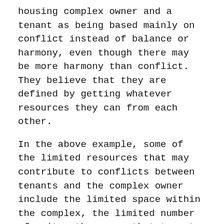housing complex owner and a tenant as being based mainly on conflict instead of balance or harmony, even though there may be more harmony than conflict. They believe that they are defined by getting whatever resources they can from each other.
In the above example, some of the limited resources that may contribute to conflicts between tenants and the complex owner include the limited space within the complex, the limited number of units, the money that tenants pay to the complex owner for rent, and so on. Ultimately, conflict theorists see this dynamic as one of conflict over these resources.
The complex owner, however gracious, is